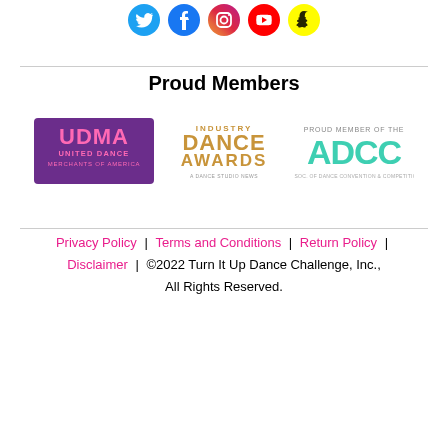[Figure (illustration): Social media icons row: Twitter (blue bird), Facebook (blue f), Instagram (camera outline), YouTube (red play button), Snapchat (yellow ghost)]
Proud Members
[Figure (logo): UDMA United Dance Merchants of America logo (purple background with pink text)]
[Figure (logo): Industry Dance Awards logo (gold metallic text)]
[Figure (logo): ADCC Proud Member of the ADCC logo (teal/green text on white)]
Privacy Policy  |  Terms and Conditions  |  Return Policy  |  Disclaimer  |  ©2022 Turn It Up Dance Challenge, Inc., All Rights Reserved.